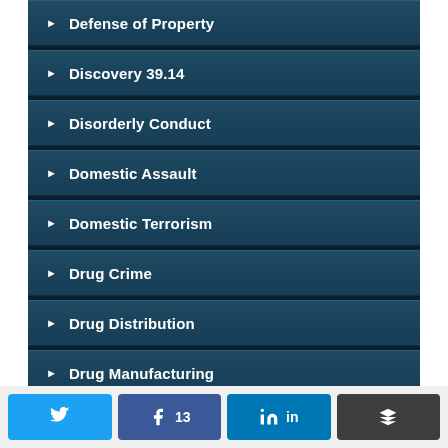Defense of Property
Discovery 39.14
Disorderly Conduct
Domestic Assault
Domestic Terrorism
Drug Crime
Drug Distribution
Drug Manufacturing
Drug Smuggling
Drug Trafficking
Twitter | Facebook 13 | LinkedIn | Layers